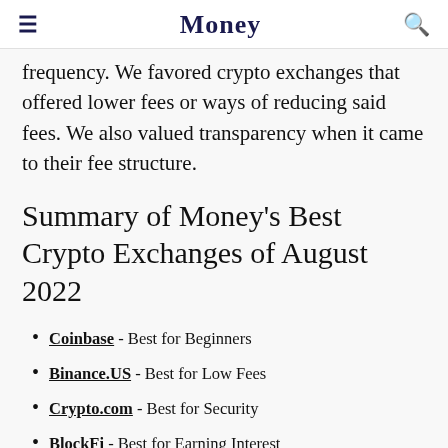Money
frequency. We favored crypto exchanges that offered lower fees or ways of reducing said fees. We also valued transparency when it came to their fee structure.
Summary of Money's Best Crypto Exchanges of August 2022
Coinbase - Best for Beginners
Binance.US - Best for Low Fees
Crypto.com - Best for Security
BlockFi - Best for Earning Interest